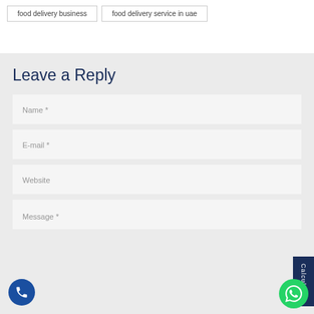food delivery business
food delivery service in uae
Leave a Reply
Name *
E-mail *
Website
Message *